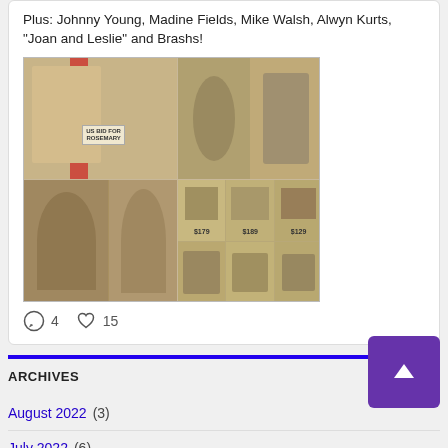Plus: Johnny Young, Madine Fields, Mike Walsh, Alwyn Kurts, "Joan and Leslie" and Brashs!
[Figure (photo): Collage of vintage magazine clippings showing people and product advertisements including text 'US BID FOR ROSEMARY' and product prices like $179, $189, $129]
Comment 4   Like 15
ARCHIVES
August 2022 (3)
July 2022 (6)
June 2022 (8)